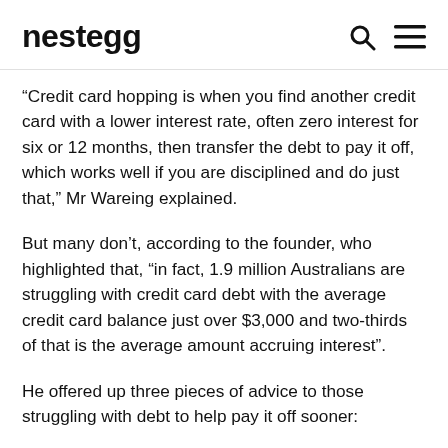nestegg
“Credit card hopping is when you find another credit card with a lower interest rate, often zero interest for six or 12 months, then transfer the debt to pay it off, which works well if you are disciplined and do just that,” Mr Wareing explained.
But many don’t, according to the founder, who highlighted that, “in fact, 1.9 million Australians are struggling with credit card debt with the average credit card balance just over $3,000 and two-thirds of that is the average amount accruing interest”.
He offered up three pieces of advice to those struggling with debt to help pay it off sooner:
3 tips to paying off debt sooner